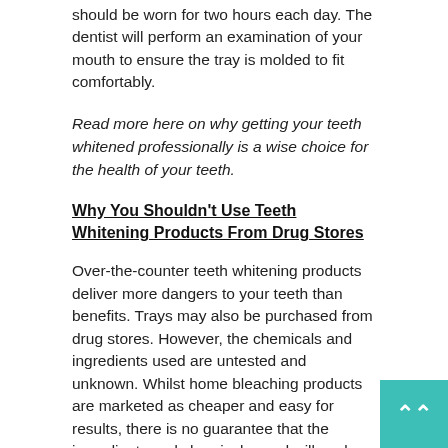should be worn for two hours each day. The dentist will perform an examination of your mouth to ensure the tray is molded to fit comfortably.
Read more here on why getting your teeth whitened professionally is a wise choice for the health of your teeth.
Why You Shouldn't Use Teeth Whitening Products From Drug Stores
Over-the-counter teeth whitening products deliver more dangers to your teeth than benefits. Trays may also be purchased from drug stores. However, the chemicals and ingredients used are untested and unknown. Whilst home bleaching products are marketed as cheaper and easy for results, there is no guarantee that the ingredients and chemicals used will work. Nowadays, there are more illega